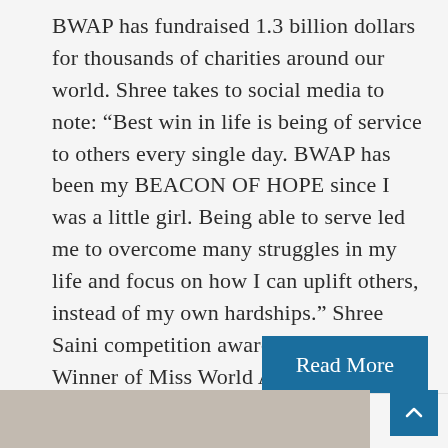BWAP has fundraised 1.3 billion dollars for thousands of charities around our world. Shree takes to social media to note: “Best win in life is being of service to others every single day. BWAP has been my BEACON OF HOPE since I was a little girl. Being able to serve led me to overcome many struggles in my life and focus on how I can uplift others, instead of my own hardships.” Shree Saini competition award list includes   Winner of Miss World America Beauty with a Purpose National Amba…
Read More
[Figure (photo): Partial view of a photo at the bottom of the page showing what appears to be a light-colored surface or document]